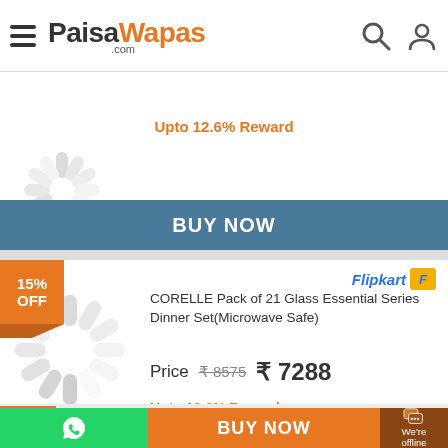PaisaWapas.com
Upto 12.6% Reward
BUY NOW
15% OFF
CORELLE Pack of 21 Glass Essential Series Dinner Set(Microwave Safe)
Price  ₹8575  ₹7288
Upto 12.6% Reward
BUY NOW
14%
BUY NOW
We're offline